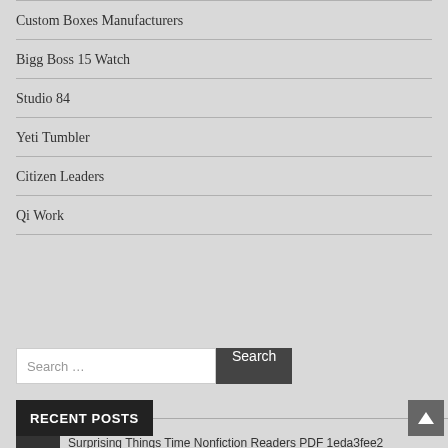Custom Boxes Manufacturers
Bigg Boss 15 Watch
Studio 84
Yeti Tumbler
Citizen Leaders
Qi Work
Search …
RECENT POSTS
Surprising Things Time Nonfiction Readers PDF 1eda3fee2